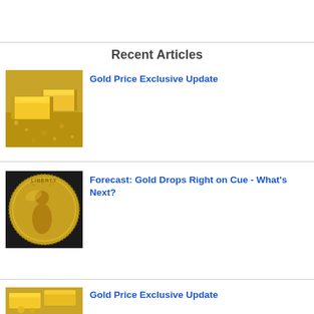Recent Articles
[Figure (photo): Gold bars resting on gold dust/nuggets]
Gold Price Exclusive Update
[Figure (photo): Gold Liberty coin close-up]
Forecast: Gold Drops Right on Cue - What's Next?
[Figure (photo): Gold bars and coins stacked]
Gold Price Exclusive Update